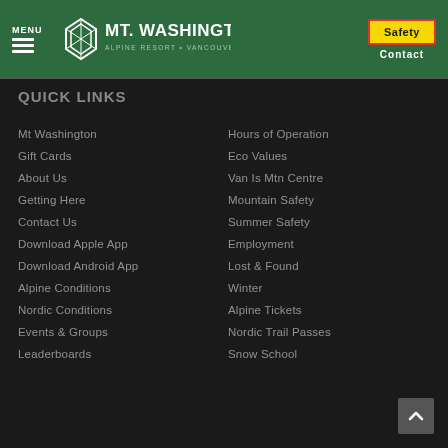MENU | Mt. Washington Alpine Resort | Safety | Contact
QUICK LINKS
Mt Washington
Hours of Operation
Gift Cards
Eco Values
About Us
Van Is Mtn Centre
Getting Here
Mountain Safety
Contact Us
Summer Safety
Download Apple App
Employment
Download Android App
Lost & Found
Alpine Conditions
Winter
Nordic Conditions
Alpine Tickets
Events & Groups
Nordic Trail Passes
Leaderboards
Snow School